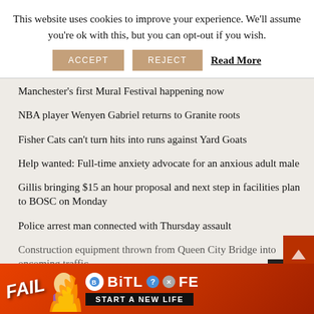This website uses cookies to improve your experience. We'll assume you're ok with this, but you can opt-out if you wish.
ACCEPT  REJECT  Read More
Manchester's first Mural Festival happening now
NBA player Wenyen Gabriel returns to Granite roots
Fisher Cats can't turn hits into runs against Yard Goats
Help wanted: Full-time anxiety advocate for an anxious adult male
Gillis bringing $15 an hour proposal and next step in facilities plan to BOSC on Monday
Police arrest man connected with Thursday assault
Construction equipment thrown from Queen City Bridge into oncoming traffic
[Figure (screenshot): BitLife advertisement banner: FAIL text with animated character and flames, BitLife logo, START A NEW LIFE button]